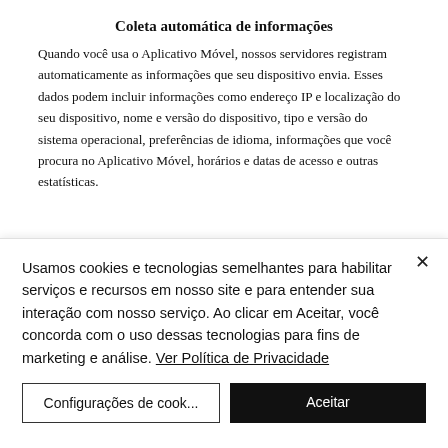Coleta automática de informações
Quando você usa o Aplicativo Móvel, nossos servidores registram automaticamente as informações que seu dispositivo envia. Esses dados podem incluir informações como endereço IP e localização do seu dispositivo, nome e versão do dispositivo, tipo e versão do sistema operacional, preferências de idioma, informações que você procura no Aplicativo Móvel, horários e datas de acesso e outras estatísticas.
Usamos cookies e tecnologias semelhantes para habilitar serviços e recursos em nosso site e para entender sua interação com nosso serviço. Ao clicar em Aceitar, você concorda com o uso dessas tecnologias para fins de marketing e análise. Ver Política de Privacidade